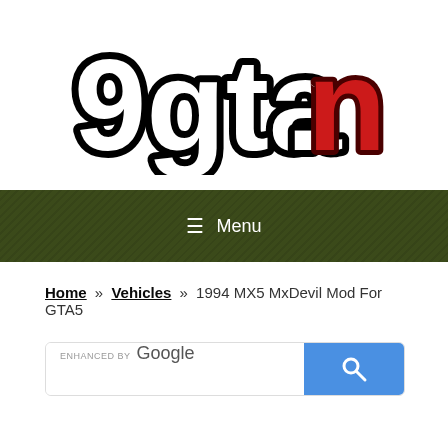[Figure (logo): 9gta.net logo with bold white letters outlined in black and red 'net' text on dark red background]
≡ Menu
Home » Vehicles » 1994 MX5 MxDevil Mod For GTA5
[Figure (screenshot): Google enhanced search bar with blue search button]